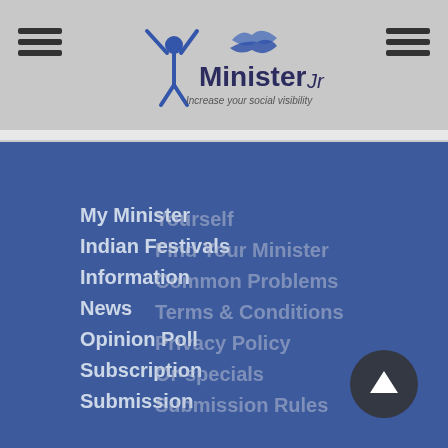[Figure (logo): MinisterJi logo with tagline 'Increase your social visibility' in the header area]
My Minister
Indian Festivals
Information
News
Opinion Poll
Subscription
Submission
Yourself
Find Your Minister
Common Problems
Terms & Conditions
Privacy Policy
Or-specials
Subscription Rules